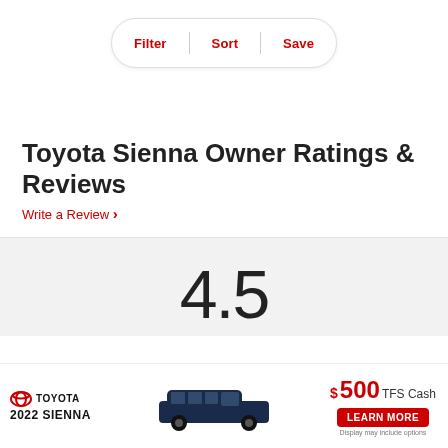[Figure (screenshot): Filter/Sort/Save pill button bar with red text labels and vertical dividers inside a rounded pill-shaped container]
Toyota Sienna Owner Ratings & Reviews
Write a Review ›
4.5
[Figure (screenshot): Toyota 2022 Sienna advertisement banner showing a dark blue minivan, Toyota logo, $500 TFS Cash offer, and a red LEARN MORE button. Disclaimer: Display may include options.]